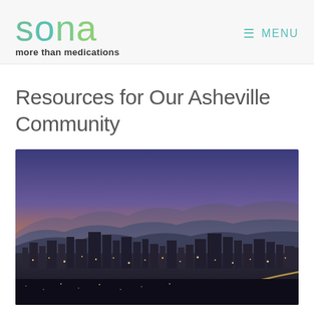sona more than medications MENU
Resources for Our Asheville Community
[Figure (photo): Aerial twilight/sunset panoramic view of Asheville, NC city skyline with mountains in background and city lights below, orange and purple gradient sky]